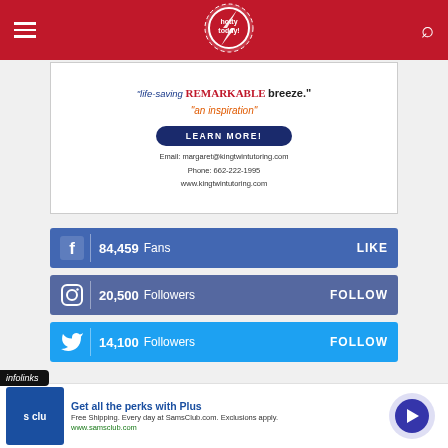hotty toddy
[Figure (screenshot): Advertisement for kingtwintutoring.com with text 'life-saving', 'REMARKABLE', 'breeze.', 'an inspiration', LEARN MORE button, email: margaret@kingtwintutoring.com, Phone: 662-222-1995, www.kingtwintutoring.com]
[Figure (infographic): Facebook bar: 84,459 Fans LIKE]
[Figure (infographic): Instagram bar: 20,500 Followers FOLLOW]
[Figure (infographic): Twitter bar: 14,100 Followers FOLLOW]
[Figure (screenshot): infolinks ad banner: Get all the perks with Plus. Free Shipping. Every day at SamsClub.com. Exclusions apply. www.samsclub.com. Sam's Club logo.]